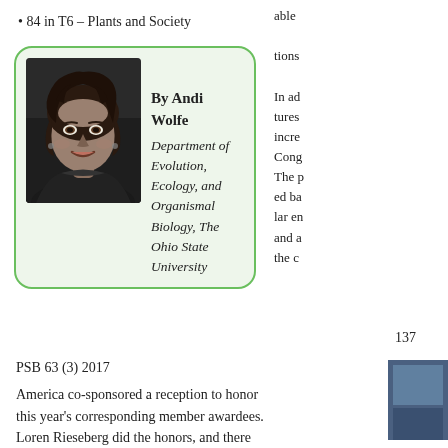84 in T6 – Plants and Society
able tions
In ad tures incre Cong The p ed ba lar en and a the c
[Figure (photo): Black and white portrait photo of Andi Wolfe, a woman with dark curly/wavy hair, smiling, inside a green-bordered rounded box with light green background]
By Andi Wolfe
Department of Evolution, Ecology, and Organismal Biology, The Ohio State University
137
PSB 63 (3) 2017
America co-sponsored a reception to honor this year's corresponding member awardees. Loren Rieseberg did the honors, and there